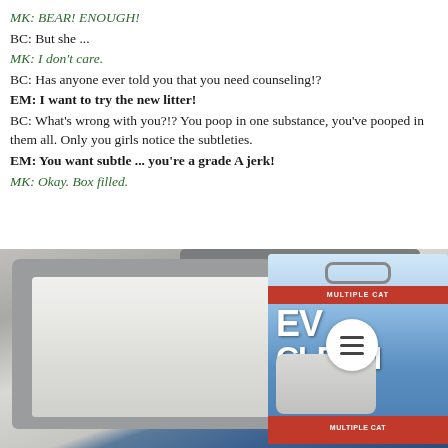MK: BEAR! ENOUGH!
BC: But she ...
MK: I don't care.
BC: Has anyone ever told you that you need counseling!?
EM: I want to try the new litter!
BC: What's wrong with you?!? You poop in one substance, you've pooped in them all. Only you girls notice the subtleties.
EM: You want subtle ... you're a grade A jerk!
MK: Okay. Box filled.
[Figure (photo): A gray plastic litter box filled with white/light gray cat litter, next to a blue box of Ever Clean Multiple Cat litter, with a white circular menu button overlay on the right side.]